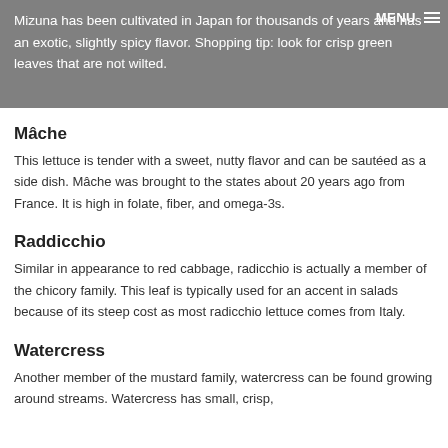Mizuna has been cultivated in Japan for thousands of years and has an exotic, slightly spicy flavor. Shopping tip: look for crisp green leaves that are not wilted.
Mâche
This lettuce is tender with a sweet, nutty flavor and can be sautéed as a side dish. Mâche was brought to the states about 20 years ago from France. It is high in folate, fiber, and omega-3s.
Raddicchio
Similar in appearance to red cabbage, radicchio is actually a member of the chicory family. This leaf is typically used for an accent in salads because of its steep cost as most radicchio lettuce comes from Italy.
Watercress
Another member of the mustard family, watercress can be found growing around streams. Watercress has small, crisp,